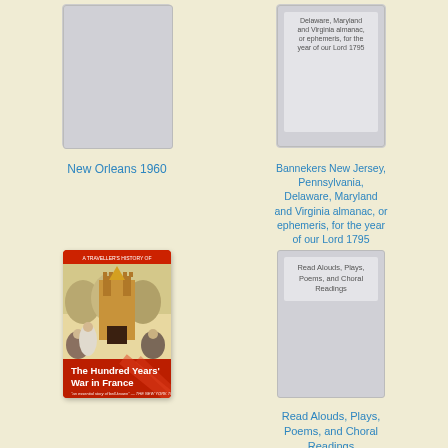[Figure (illustration): Book cover placeholder for 'New Orleans 1960' - blank grey cover]
New Orleans 1960
[Figure (illustration): Book cover placeholder for Banneker's almanac - grey cover with partial title text visible at top]
Bannekers New Jersey, Pennsylvania, Delaware, Maryland and Virginia almanac, or ephemeris, for the year of our Lord 1795
[Figure (illustration): Book cover for 'A Traveller's History of The Hundred Years War in France' - red cover with medieval battle scene illustration]
[Figure (illustration): Book cover placeholder for 'Read Alouds, Plays, Poems, and Choral Readings' - blank grey cover with text]
Read Alouds, Plays, Poems, and Choral Readings